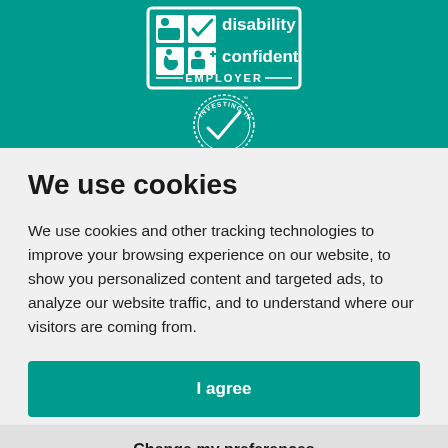[Figure (logo): Disability Confident Employer logo and Investing in Volunteers circular badge on teal background]
We use cookies
We use cookies and other tracking technologies to improve your browsing experience on our website, to show you personalized content and targeted ads, to analyze our website traffic, and to understand where our visitors are coming from.
I agree
Change my preferences